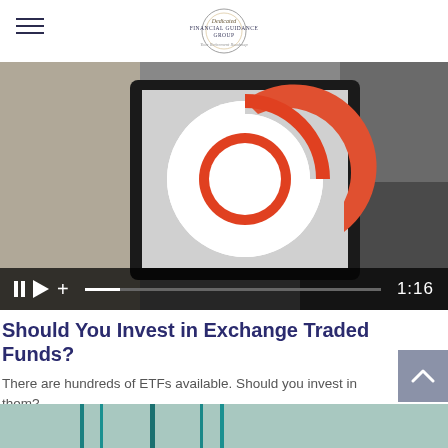Dedicated Financial Guidance Group — Hamburger menu and logo
[Figure (screenshot): Video thumbnail showing a smartphone displaying an orange flower/ETF graphic on a dark background, with video player controls showing pause, play, add buttons, a progress bar, and timestamp 1:16]
Should You Invest in Exchange Traded Funds?
There are hundreds of ETFs available. Should you invest in them?
[Figure (photo): Partial bottom strip showing the top of another article image with teal/green tones]